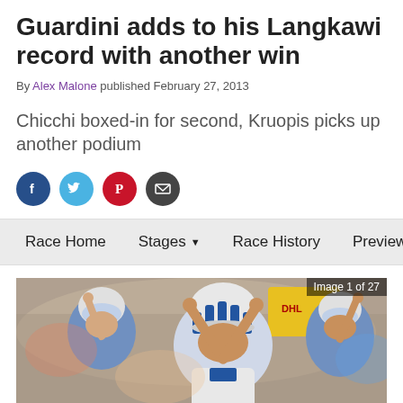Guardini adds to his Langkawi record with another win
By Alex Malone published February 27, 2013
Chicchi boxed-in for second, Kruopis picks up another podium
[Figure (other): Social media sharing icons: Facebook, Twitter, Pinterest, Email]
Race Home | Stages | Race History | Preview
[Figure (photo): Cyclists celebrating a stage win at Langkawi, raising index fingers, wearing helmets and blue team kit. Caption: Image 1 of 27]